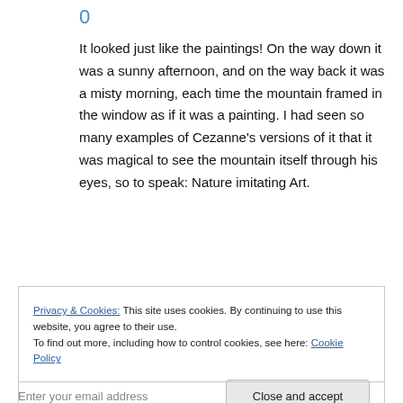0
It looked just like the paintings! On the way down it was a sunny afternoon, and on the way back it was a misty morning, each time the mountain framed in the window as if it was a painting. I had seen so many examples of Cezanne’s versions of it that it was magical to see the mountain itself through his eyes, so to speak: Nature imitating Art.
Privacy & Cookies: This site uses cookies. By continuing to use this website, you agree to their use. To find out more, including how to control cookies, see here: Cookie Policy
Close and accept
Enter your email address